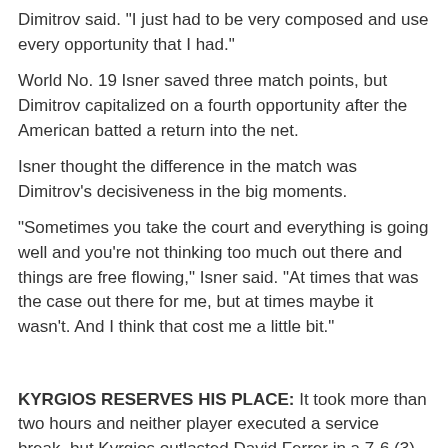Dimitrov said. “I just had to be very composed and use every opportunity that I had.”
World No. 19 Isner saved three match points, but Dimitrov capitalized on a fourth opportunity after the American batted a return into the net.
Isner thought the difference in the match was Dimitrov’s decisiveness in the big moments.
“Sometimes you take the court and everything is going well and you’re not thinking too much out there and things are free flowing,” Isner said. “At times that was the case out there for me, but at times maybe it wasn’t. And I think that cost me a little bit.”
KYRGIOS RESERVES HIS PLACE: It took more than two hours and neither player executed a service break, but Kyrgios outlasted David Ferrer in a 7-6 (3), 7-6 (4) semifinal Saturday night.